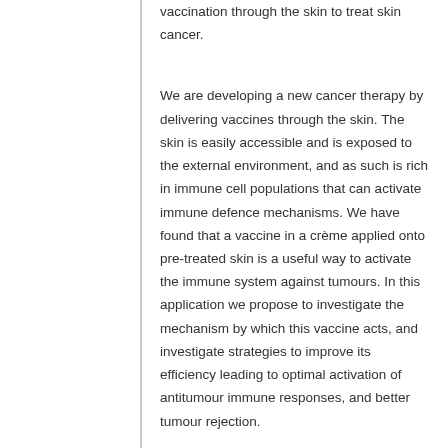vaccination through the skin to treat skin cancer.
We are developing a new cancer therapy by delivering vaccines through the skin. The skin is easily accessible and is exposed to the external environment, and as such is rich in immune cell populations that can activate immune defence mechanisms. We have found that a vaccine in a crème applied onto pre-treated skin is a useful way to activate the immune system against tumours. In this application we propose to investigate the mechanism by which this vaccine acts, and investigate strategies to improve its efficiency leading to optimal activation of antitumour immune responses, and better tumour rejection.